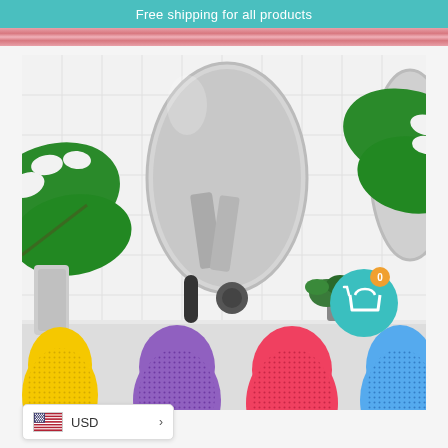Free shipping for all products
[Figure (photo): E-commerce website screenshot showing a bathroom scene with an oval mirror mounted on white subway tiles, monstera plant leaves, a wall-mounted faucet with two knobs, and four silicone facial cleansing brushes in yellow, purple, pink, and blue arranged at the bottom. A teal shopping cart button with orange badge showing '0' is visible in the lower right corner.]
USD >